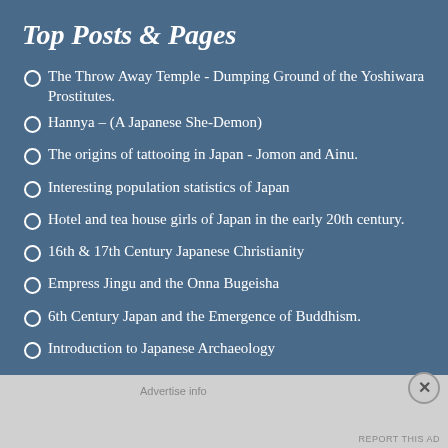Top Posts & Pages
The Throw Away Temple - Dumping Ground of the Yoshiwara Prostitutes.
Hannya – (A Japanese She-Demon)
The origins of tattooing in Japan - Jomon and Ainu.
Interesting population statistics of Japan
Hotel and tea house girls of Japan in the early 20th century.
16th & 17th Century Japanese Christianity
Empress Jingu and the Onna Bugeisha
6th Century Japan and the Emergence of Buddhism.
Introduction to Japanese Archaeology
Advertise info